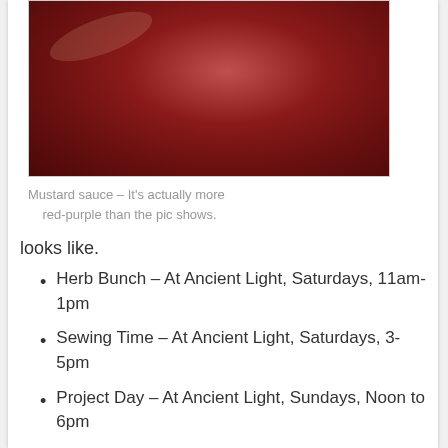[Figure (photo): A red-purple round object (mustard sauce) photographed against a light background]
Mustard sauce – It's actually more red-purple than the pic shows.
looks like.
Herb Bunch – At Ancient Light, Saturdays, 11am-1pm
Sewing Time – At Ancient Light, Saturdays, 3-5pm
Project Day – At Ancient Light, Sundays, Noon to 6pm
Next Potluck – (no Feb potluck), 3/17, 4/21, 5/19, 6/16